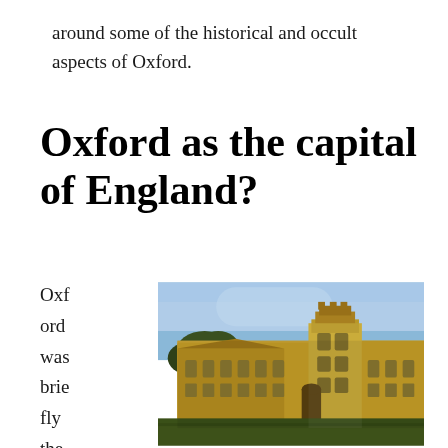around some of the historical and occult aspects of Oxford.
Oxford as the capital of England?
Oxford was briefly the
[Figure (photo): Photograph of an Oxford college building — a large Gothic stone structure with a central tower, glowing golden in warm evening light, with a green lawn in the foreground and trees to the left.]